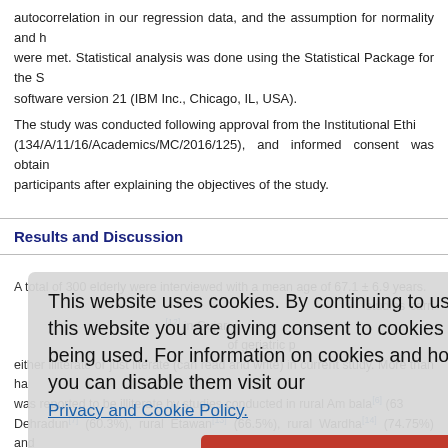autocorrelation in our regression data, and the assumption for normality and homoscedasticity were met. Statistical analysis was done using the Statistical Package for the Social Sciences software version 21 (IBM Inc., Chicago, IL, USA).
The study was conducted following approval from the Institutional Ethics Committee (134/A/11/16/Academics/MC/2016/125), and informed consent was obtained from participants after explaining the objectives of the study.
Results and Discussion
A total of 300 elderly were interviewed with a mean age of 67.1 ± 6.9 years. The mean age group in the studies carried out by Tiple et al.[12] in Gujarat, by others were also similar. Majority of geriatric patients were either illiterate or just literate (can read and write) in current study. More than half of the population was reported to be illiterate by studies conducted in rural Ambala[6] (63%), rural Dehradun[7] (60.3%), rural Etawan[13] (66.5%), rural Wardha[14] (74.75%) and rural Kannada[15] (62.9%). Other studies also reported majority of their population to be illiterate but not among more than 50% of population.[7],[12],[14],[16],[17] Major part of our study was retired (78%) and 42% were homemaker. Shah et al. from Ahmedabad[12]
This website uses cookies. By continuing to use this website you are giving consent to cookies being used. For information on cookies and how you can disable them visit our Privacy and Cookie Policy. AGREE & PROCEED